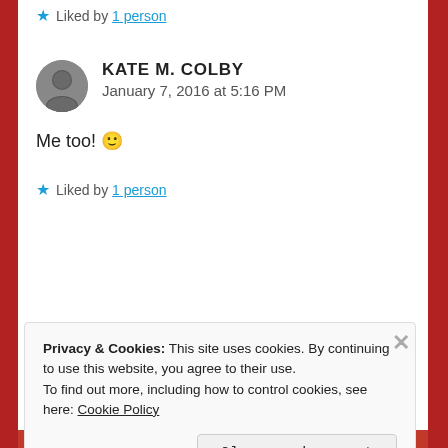★ Liked by 1 person
KATE M. COLBY
January 7, 2016 at 5:16 PM
Me too! 🙂
★ Liked by 1 person
Privacy & Cookies: This site uses cookies. By continuing to use this website, you agree to their use.
To find out more, including how to control cookies, see here: Cookie Policy
Close and accept